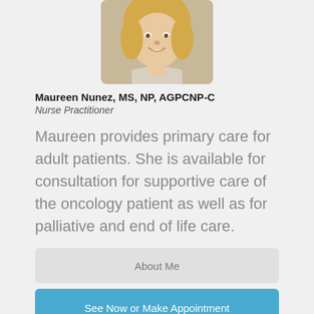[Figure (photo): Headshot photo of Maureen Nunez, a woman with blonde hair, smiling, wearing a light-colored top]
Maureen Nunez, MS, NP, AGPCNP-C
Nurse Practitioner
Maureen provides primary care for adult patients. She is available for consultation for supportive care of the oncology patient as well as for palliative and end of life care.
About Me
See Now or Make Appointment